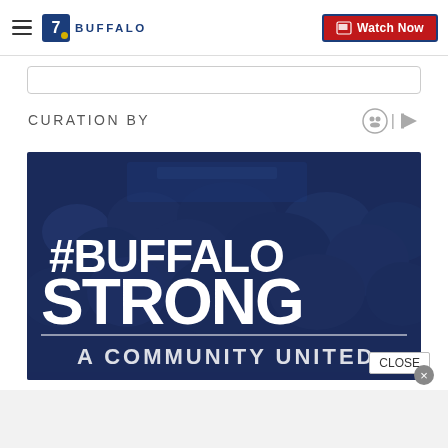7 Buffalo — Watch Now
CURATION BY
[Figure (photo): Dark blue tinted photo of a crowd of people with large white text overlay reading '#BUFFALO STRONG' and below that 'A COMMUNITY UNITED'. This appears to be a news broadcast graphic for WKBW Buffalo.]
CLOSE